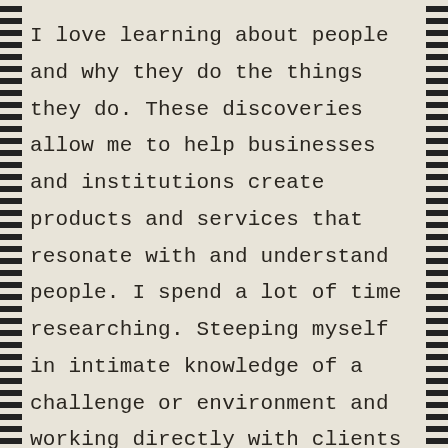I love learning about people and why they do the things they do. These discoveries allow me to help businesses and institutions create products and services that resonate with and understand people. I spend a lot of time researching. Steeping myself in intimate knowledge of a challenge or environment and working directly with clients and their customers leads me to better, more informed ideas: